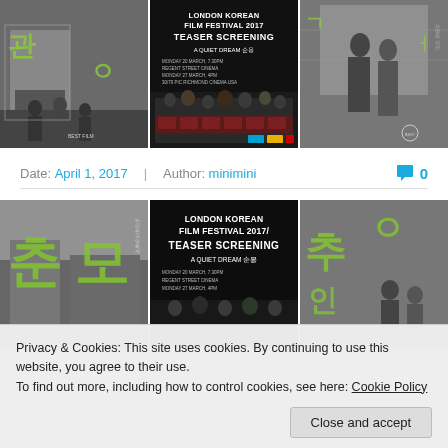[Figure (photo): Three-panel image strip: left panel shows black-and-white film scene with Korean characters overlay (green), center panel shows a 'London Korean Film Festival 2017 Teaser Screening - A Quiet Dream' poster with audience in cinema, right panel shows black-and-white scene with Korean characters overlay]
Date: April 1, 2017   Author: minimini   0
[Figure (photo): Three-panel image strip: left panel shows Korean characters (춘 모) in green on grayscale background, center panel shows 'London Korean Film Festival 2017 Teaser Screening - A Quiet Dream' poster text on dark background, right panel shows Korean characters with grayscale scene]
Privacy & Cookies: This site uses cookies. By continuing to use this website, you agree to their use.
To find out more, including how to control cookies, see here: Cookie Policy
Close and accept